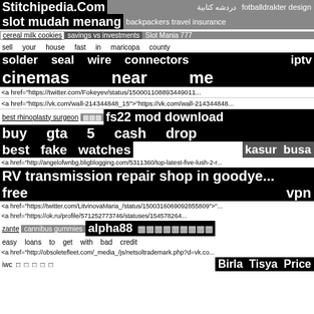Stitchipedia.Com  دردشه كتابية  fotballdrakter design
slot mudah menang  backpackers travel insurance
cereal milk cookies   savings vs investments   Slot Mania 777
sell your house fast in maricopa county
solder seal wire connectors  iptv
cinemas near me
<a href="https://twitter.com/Fokeyev/status/150001108893449011...
<a href="https://vk.com/wall-214344848_15">"https://vk.com/wall-214344848...
best rhinoplasty surgeon  □□□  fs22 mod download
buy gta 5 cash drop
best fake watches  kasur busa
<a href="http://angelofwnbg.bligblogging.com/5311360/top-latest-five-lush-2-r...
RV transmission repair shop in goodye...
free  vpn
<a href="https://twitter.com/LitvinovaMaria_/status/1500316069092855809">"...
<a href="https://ok.ru/profile/571252773746/statuses/154578264...
zante  cannibus gummies  alpha88  □□□□□□□□□
easy loans to get with bad credit
<a href="http://obsoletefleet.com/_media_/js/netsoltrademark.php?d=vk.co...
iwc  □  □  □  □  □  Birla  Tisya  Price